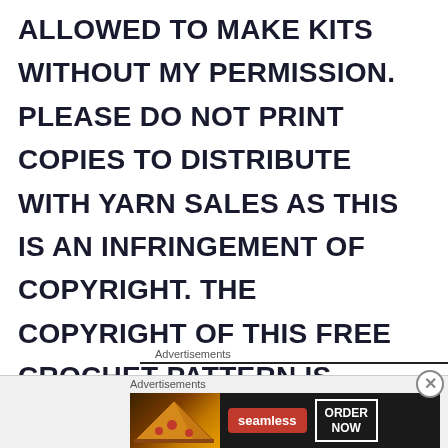ALLOWED TO MAKE KITS WITHOUT MY PERMISSION. PLEASE DO NOT PRINT COPIES TO DISTRIBUTE WITH YARN SALES AS THIS IS AN INFRINGEMENT OF COPYRIGHT. THE COPYRIGHT OF THIS FREE CROCHET PATTERN IS PROTECTED BY SCHEEPJES.COM.
Advertisements
[Figure (screenshot): Advertisement banner for Seamless food delivery with pizza image, Seamless logo, and ORDER NOW button]